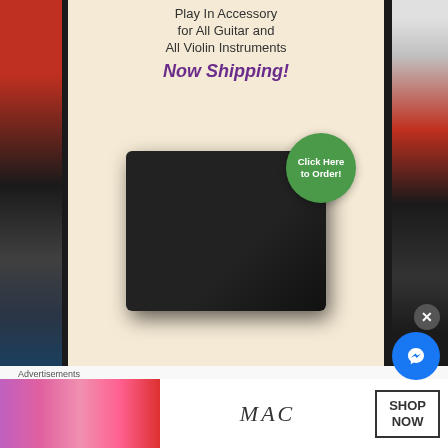[Figure (screenshot): Website screenshot showing a music accessory advertisement for guitar and violin instruments. Black product box with 'Now Shipping!' text and green 'Click Here to Order' button on beige/tan background.]
GigFly News
[Figure (screenshot): GigFly website screenshot showing category buttons (Artist, Venue, Promoter, Sound Engineer, Tour Manager, Vendor) and a map results page showing Adam Barker Dr., Hamilton ON Canada.]
Advertisements
[Figure (screenshot): MAC cosmetics advertisement showing colorful lipsticks on the left side with MAC logo and 'SHOP NOW' button. Messenger chat button (blue circle) and close (X) button overlaid on the bottom right.]